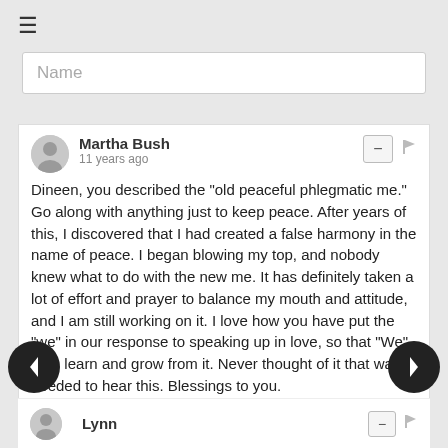≡
Name
Martha Bush
11 years ago
Dineen, you described the "old peaceful phlegmatic me." Go along with anything just to keep peace. After years of this, I discovered that I had created a false harmony in the name of peace. I began blowing my top, and nobody knew what to do with the new me. It has definitely taken a lot of effort and prayer to balance my mouth and attitude, and I am still working on it. I love how you have put the "we" in our response to speaking up in love, so that "We" both learn and grow from it. Never thought of it that way. I needed to hear this. Blessings to you.
Reply
Lynn